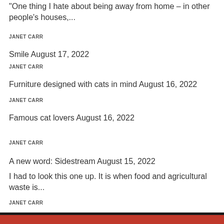One thing I hate about being away from home – in other people's houses,...
JANET CARR
Smile August 17, 2022
JANET CARR
Furniture designed with cats in mind August 16, 2022
JANET CARR
Famous cat lovers August 16, 2022
JANET CARR
A new word: Sidestream August 15, 2022
I had to look this one up. It is when food and agricultural waste is...
JANET CARR